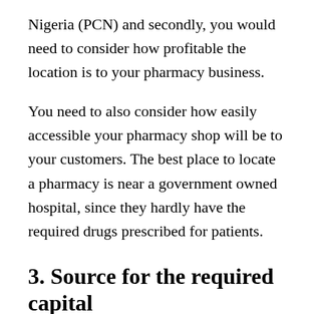Nigeria (PCN) and secondly, you would need to consider how profitable the location is to your pharmacy business.
You need to also consider how easily accessible your pharmacy shop will be to your customers. The best place to locate a pharmacy is near a government owned hospital, since they hardly have the required drugs prescribed for patients.
3. Source for the required capital
You have to carry out a feasibility study on